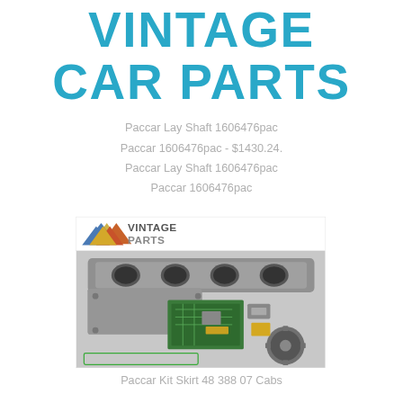VINTAGE CAR PARTS
Paccar Lay Shaft 1606476pac Paccar 1606476pac - $1430.24. Paccar Lay Shaft 1606476pac Paccar 1606476pac
[Figure (logo): Vintage Parts logo with blue, gold and orange triangle/chevron shapes, and text VINTAGE PARTS]
[Figure (photo): Photo of vintage car engine parts including a manifold, circuit board, gears, and gaskets laid out on a flat surface]
Paccar Kit Skirt 48 388 07 Cabs